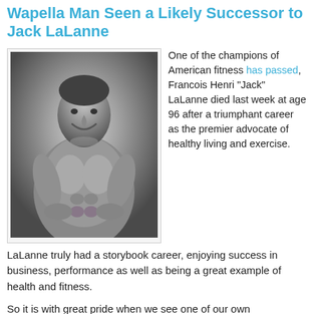Wapella Man Seen a Likely Successor to Jack LaLanne
[Figure (photo): Black and white photo of a muscular man posing with hands on hips, smiling, shirtless, showing athletic physique]
One of the champions of American fitness has passed, Francois Henri "Jack" LaLanne died last week at age 96 after a triumphant career as the premier advocate of healthy living and exercise.
LaLanne truly had a storybook career, enjoying success in business, performance as well as being a great example of health and fitness.
So it is with great pride when we see one of our own